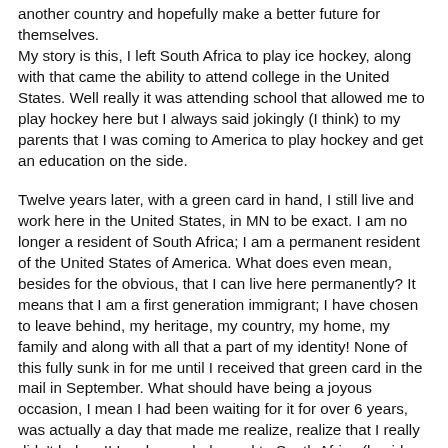another country and hopefully make a better future for themselves.
My story is this, I left South Africa to play ice hockey, along with that came the ability to attend college in the United States. Well really it was attending school that allowed me to play hockey here but I always said jokingly (I think) to my parents that I was coming to America to play hockey and get an education on the side.
Twelve years later, with a green card in hand, I still live and work here in the United States, in MN to be exact. I am no longer a resident of South Africa; I am a permanent resident of the United States of America. What does even mean, besides for the obvious, that I can live here permanently? It means that I am a first generation immigrant; I have chosen to leave behind, my heritage, my country, my home, my family and along with all that a part of my identity! None of this fully sunk in for me until I received that green card in the mail in September. What should have being a joyous occasion, I mean I had been waiting for it for over 6 years, was actually a day that made me realize, realize that I really didn't belong!! I no longer belonged to South Africa (besides